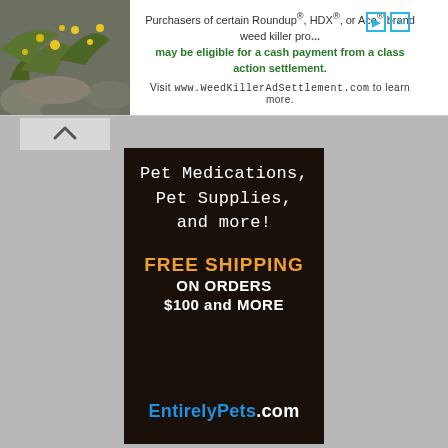[Figure (infographic): Top banner advertisement: photo of yellow flowers/shrubs on left, text about Roundup class action settlement on right. Reads: Purchasers of certain Roundup®, HDX®, or Ace® brand weed killer products may be eligible for a cash payment from a class action settlement. Visit www.WeedKillerAdSettlement.com to learn more.]
[Figure (infographic): Vertical advertisement panel with dark brown/black background. Top section in handwritten font: Pet Medications, Pet Supplies, and more! Middle section: FREE SHIPPING in orange bold, ON ORDERS $100 and MORE in white. Bottom: EntirelyPets.com logo in blue and white.]